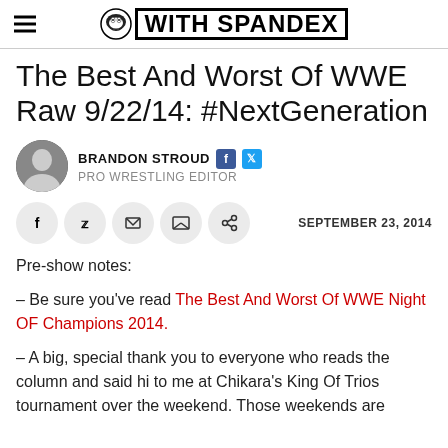WITH SPANDEX
The Best And Worst Of WWE Raw 9/22/14: #NextGeneration
BRANDON STROUD
PRO WRESTLING EDITOR
SEPTEMBER 23, 2014
Pre-show notes:
– Be sure you've read The Best And Worst Of WWE Night OF Champions 2014.
– A big, special thank you to everyone who reads the column and said hi to me at Chikara's King Of Trios tournament over the weekend. Those weekends are